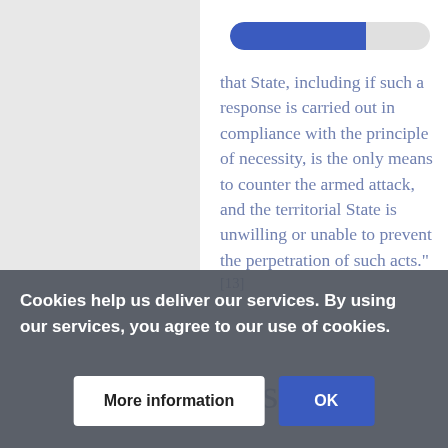[Figure (other): Horizontal progress bar, approximately 68% filled in blue, remainder in light gray]
that State, including if such a response is carried out in compliance with the principle of necessity, is the only means to counter the armed attack, and the territorial State is unwilling or unable to prevent the perpetration of such acts."[13]
Distress
Cookies help us deliver our services. By using our services, you agree to our use of cookies.
More information   OK